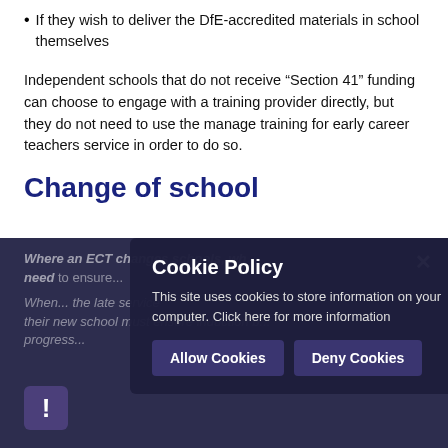If they wish to deliver the DfE-accredited materials in school themselves
Independent schools that do not receive “Section 41” funding can choose to engage with a training provider directly, but they do not need to use the manage training for early career teachers service in order to do so.
Change of school
Where an ECT changes schools, wh need...
When... the late service their new school must ensure induction b... progress... policy... record... the service...
[Figure (screenshot): Cookie Policy modal overlay with title 'Cookie Policy', body text 'This site uses cookies to store information on your computer. Click here for more information', and two buttons: 'Allow Cookies' and 'Deny Cookies'. Dark purple overlay with close X button and exclamation icon.]